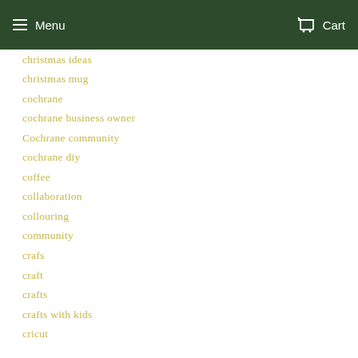Menu  Cart
christmas ideas
christmas mug
cochrane
cochrane business owner
Cochrane community
cochrane diy
coffee
collaboration
collouring
community
crafs
craft
crafts
crafts with kids
cricut